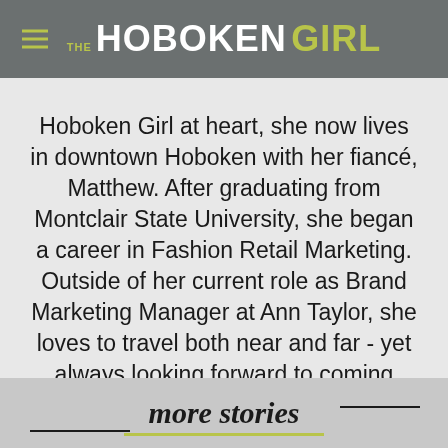THE HOBOKEN GIRL
Hoboken Girl at heart, she now lives in downtown Hoboken with her fiancé, Matthew. After graduating from Montclair State University, she began a career in Fashion Retail Marketing. Outside of her current role as Brand Marketing Manager at Ann Taylor, she loves to travel both near and far - yet always looking forward to coming back home to enjoy the institutional local gems of Hudson County, while discovering new ways to shop local along the way.
more stories